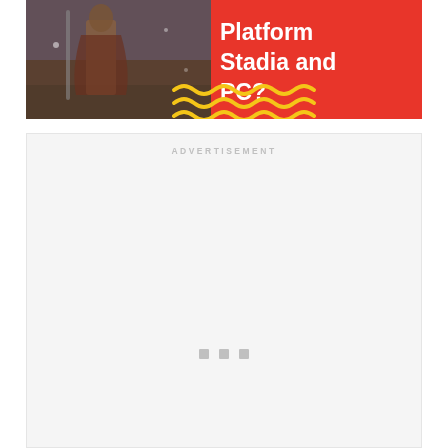[Figure (illustration): Red banner advertisement with game character on left side and white bold text reading 'Platform Stadia and PC?' on right side, with yellow wavy line decorations along the bottom]
ADVERTISEMENT
[Figure (other): Light gray advertisement placeholder block with ADVERTISEMENT label at top and three small gray square dots near the bottom center]